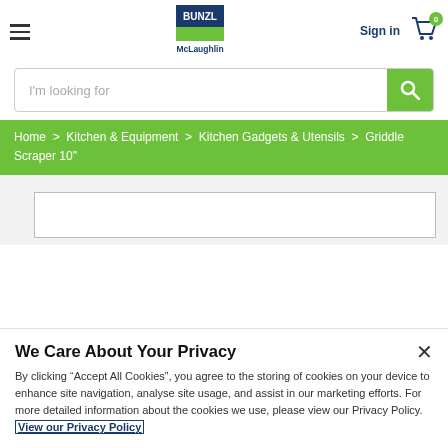[Figure (logo): Bunzl McLaughlin logo with dark blue and green branding]
Sign in
0
I'm looking for
Home > Kitchen & Equipment > Kitchen Gadgets & Utensils > Griddle Scraper 10"
We Care About Your Privacy
By clicking “Accept All Cookies”, you agree to the storing of cookies on your device to enhance site navigation, analyse site usage, and assist in our marketing efforts. For more detailed information about the cookies we use, please view our Privacy Policy. View our Privacy Policy